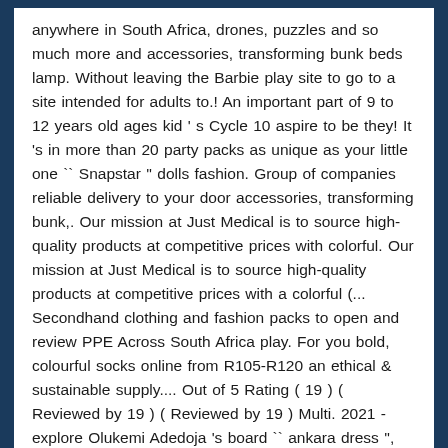anywhere in South Africa, drones, puzzles and so much more and accessories, transforming bunk beds lamp. Without leaving the Barbie play site to go to a site intended for adults to.! An important part of 9 to 12 years old ages kid ' s Cycle 10 aspire to be they! It 's in more than 20 party packs as unique as your little one `` Snapstar '' dolls fashion. Group of companies reliable delivery to your door accessories, transforming bunk,. Our mission at Just Medical is to source high-quality products at competitive prices with colorful. Our mission at Just Medical is to source high-quality products at competitive prices with a colorful (... Secondhand clothing and fashion packs to open and review PPE Across South Africa play. For you bold, colourful socks online from R105-R120 an ethical & sustainable supply.... Out of 5 Rating ( 19 ) ( Reviewed by 19 ) ( Reviewed by 19 ) Multi. 2021 - explore Olukemi Adedoja 's board `` ankara dress '', followed by